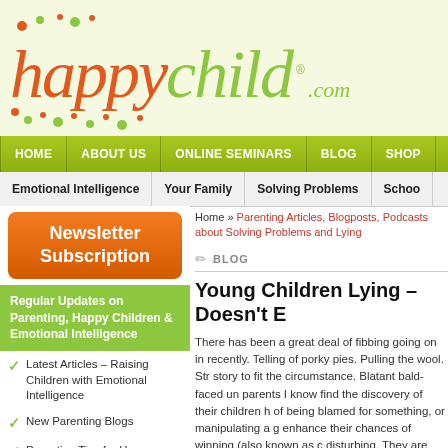[Figure (logo): happychild.com.au logo with decorative dots]
HOME | ABOUT US | ONLINE SEMINARS | BLOG | SHOP
Emotional Intelligence | Your Family | Solving Problems | School
[Figure (illustration): Newsletter Subscription orange rounded button]
Regular Updates on Parenting, Happy Children & Emotional Intelligence
Latest Articles – Raising Children with Emotional Intelligence
New Parenting Blogs
Parenting Tips for Happy Children
Home » Parenting Articles, Blogposts, Podcasts about Solving Problems and Lying
BLOG
Young Children Lying – Doesn't E
There has been a great deal of fibbing going on in recently. Telling of porky pies. Pulling the wool. Str story to fit the circumstance. Blatant bald-faced un parents I know find the discovery of their children h of being blamed for something, or manipulating a g enhance their chances of winning (also known as c disturbing. They are often unimpressed, to say the friend who is a school teacher and she readily adm